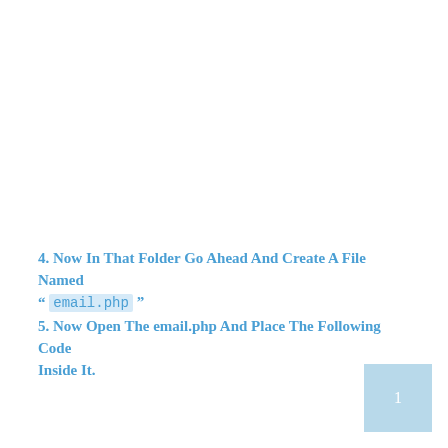4. Now In That Folder Go Ahead And Create A File Named “ email.php ”
5. Now Open The email.php And Place The Following Code Inside It.
1